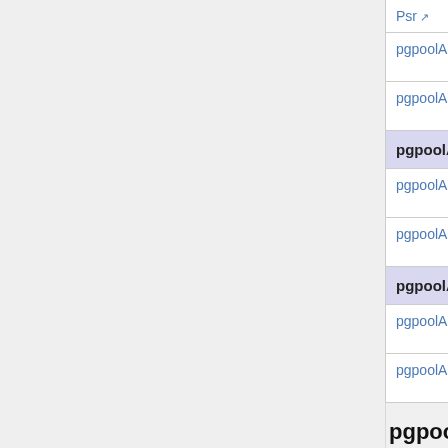| Version | Date | Type |
| --- | --- | --- |
| [partial top row] | 26 | .gz |
| pgpoolAdmin 3.5.1 | 2016-04-04 | So- .gz |
| pgpoolAdmin 3.5.0 | 2016-01-29 | So- .gz |
| pgpoolAdmin 3.4 [section header] |  |  |
| pgpoolAdmin 3.4.1 | 2015-02-05 | So- .gz |
| pgpoolAdmin 3.4.0 | 2014-11-07 | So- .gz |
| pgpoolAdmin 3.3 [section header] |  |  |
| pgpoolAdmin 3.3.1 | 2014-03-24 | So- .gz |
| pgpoolAdmin 3.3.0 | 2013-07-30 | So- .gz |
pgpool-HA
| Version | Date | Type |
| --- | --- | --- |